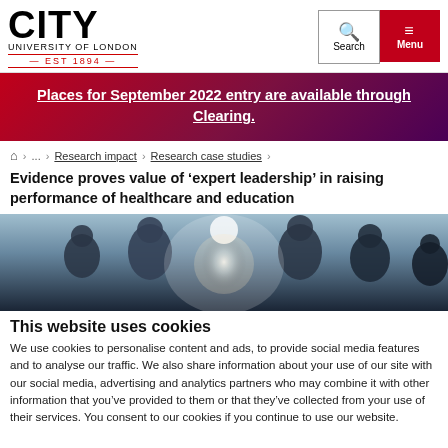CITY UNIVERSITY OF LONDON EST 1894 | Search | Menu
Places for September 2022 entry are available through Clearing.
Home > ... > Research impact > Research case studies > Evidence proves value of 'expert leadership' in raising performance of healthcare and education
Evidence proves value of 'expert leadership' in raising performance of healthcare and education
[Figure (photo): Silhouettes of multiple people facing a bright light source, appearing to be in a meeting or collaborative setting, with a light blue-gray background.]
This website uses cookies
We use cookies to personalise content and ads, to provide social media features and to analyse our traffic. We also share information about your use of our site with our social media, advertising and analytics partners who may combine it with other information that you’ve provided to them or that they’ve collected from your use of their services. You consent to our cookies if you continue to use our website.